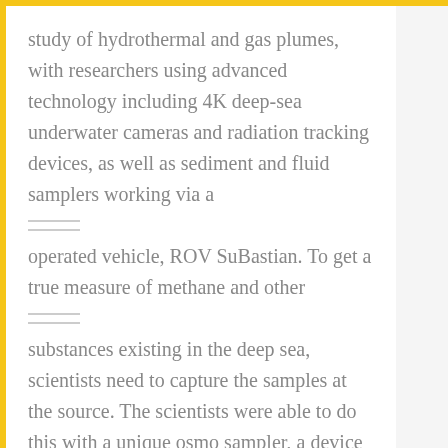study of hydrothermal and gas plumes, with researchers using advanced technology including 4K deep-sea underwater cameras and radiation tracking devices, as well as sediment and fluid samplers working via a
operated vehicle, ROV SuBastian. To get a true measure of methane and other
substances existing in the deep sea, scientists need to capture the samples at the source. The scientists were able to do this with a unique osmo sampler, a device that draws hydrothermal fluids into small capillary-like tubing, mounted onto the ROV. Several other